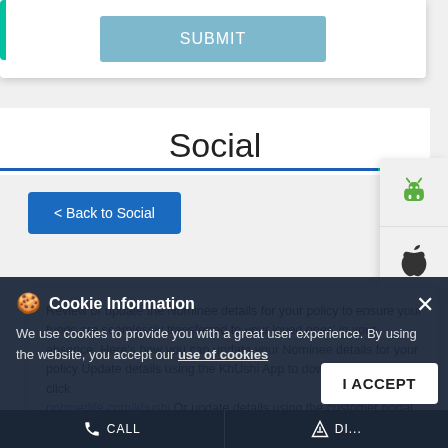[Figure (screenshot): SUBMIT button in a blue-grey rounded rectangle, centered in a white card with a teal left border bar]
Social
[Figure (other): Android and Apple app store icons in a right-side panel]
< Back to Social
Review or update the Nominee details for your policy to ensure your funds are seamlessly transferred to your loved ones' in your absence. Here's how you can update your Nominee details for your policy Update details using the KhUshi App to download the app click pnbmetlife.com/khushi Or update details using the customer portal on www.pnbmetlife.com Or Walk into your nearest branch. To locate a branch, visit
Cookie Information
We use cookies to provide you with a great user experience. By using the website, you accept our use of cookies
I ACCEPT
CALL   DIRE...